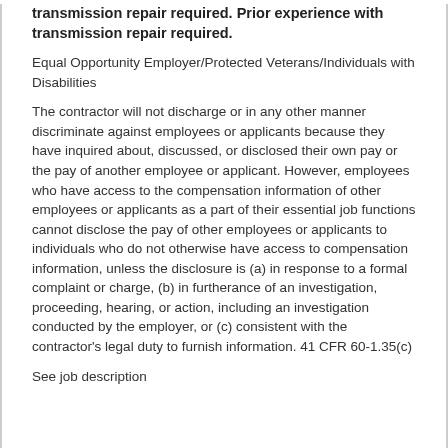transmission repair required. Prior experience with transmission repair required.
Equal Opportunity Employer/Protected Veterans/Individuals with Disabilities
The contractor will not discharge or in any other manner discriminate against employees or applicants because they have inquired about, discussed, or disclosed their own pay or the pay of another employee or applicant. However, employees who have access to the compensation information of other employees or applicants as a part of their essential job functions cannot disclose the pay of other employees or applicants to individuals who do not otherwise have access to compensation information, unless the disclosure is (a) in response to a formal complaint or charge, (b) in furtherance of an investigation, proceeding, hearing, or action, including an investigation conducted by the employer, or (c) consistent with the contractor's legal duty to furnish information. 41 CFR 60-1.35(c)
See job description